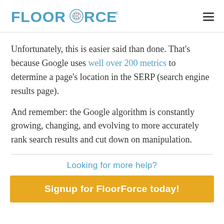FLOORFORCE
Unfortunately, this is easier said than done. That's because Google uses well over 200 metrics to determine a page's location in the SERP (search engine results page).
And remember: the Google algorithm is constantly growing, changing, and evolving to more accurately rank search results and cut down on manipulation.
Looking for more help?
Signup for FloorForce today!